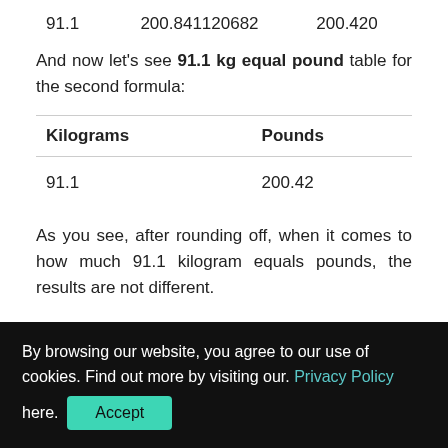| 91.1 | 200.841120682 | 200.420 |
And now let's see 91.1 kg equal pound table for the second formula:
| Kilograms | Pounds |
| --- | --- |
| 91.1 | 200.42 |
As you see, after rounding off, when it comes to how much 91.1 kilogram equals pounds, the results are not different.
By browsing our website, you agree to our use of cookies. Find out more by visiting our. Privacy Policy here. [Accept]